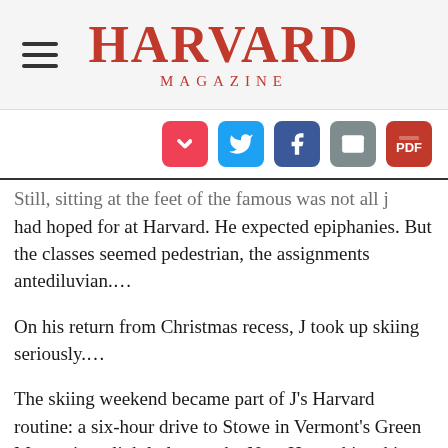HARVARD MAGAZINE
[Figure (other): Social sharing icons: Pocket, Twitter, Facebook, Email, PDF]
Still, sitting at the feet of the famous was not all j had hoped for at Harvard. He expected epiphanies. But the classes seemed pedestrian, the assignments antediluvian….
On his return from Christmas recess, J took up skiing seriously….
The skiing weekend became part of J’s Harvard routine: a six-hour drive to Stowe in Vermont’s Green Mountains, slightly less to the New Hampshire ski areas…J and his friends climbed with sealskins on their skis. If blizzard conditions